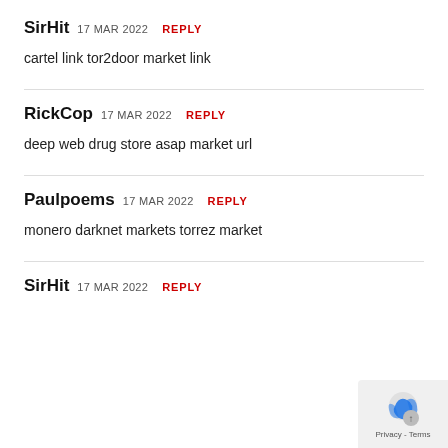SirHit 17 MAR 2022 REPLY
cartel link tor2door market link
RickCop 17 MAR 2022 REPLY
deep web drug store asap market url
Paulpoems 17 MAR 2022 REPLY
monero darknet markets torrez market
SirHit 17 MAR 2022 REPLY